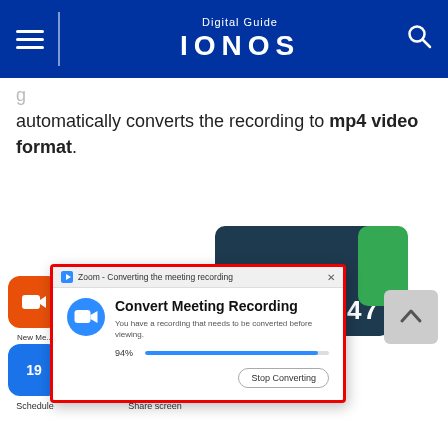Digital Guide IONOS
automatically converts the recording to mp4 video format.
[Figure (screenshot): Zoom app navigation bar showing Home, Chat, Meetings, Contacts tabs]
[Figure (screenshot): Zoom 'Convert Meeting Recording' dialog showing 94% progress bar and Stop Converting button, with app icons in background]